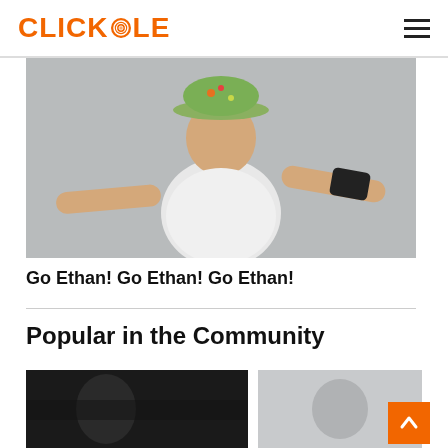CLICKHOLE
[Figure (photo): A boy wearing a colorful bucket hat and white t-shirt with a black wrist brace, posing with arms outstretched against a gray background.]
Go Ethan! Go Ethan! Go Ethan!
Popular in the Community
[Figure (photo): Dark thumbnail image, part of community section]
[Figure (photo): Light gray thumbnail image, part of community section]